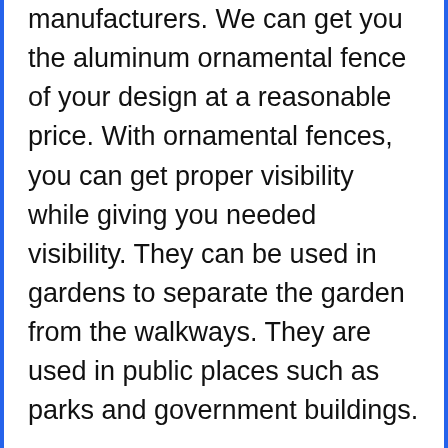manufacturers. We can get you the aluminum ornamental fence of your design at a reasonable price. With ornamental fences, you can get proper visibility while giving you needed visibility. They can be used in gardens to separate the garden from the walkways. They are used in public places such as parks and government buildings.

At Prime Fence Contractor, we offer outstanding workmanship and a promise of satisfaction. We do sell a range of ornamental fencing choices for you to select from in aluminum...